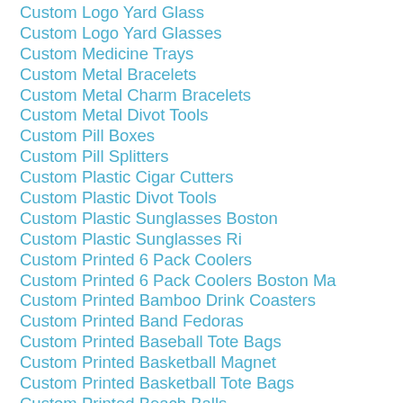Custom Logo Yard Glass
Custom Logo Yard Glasses
Custom Medicine Trays
Custom Metal Bracelets
Custom Metal Charm Bracelets
Custom Metal Divot Tools
Custom Pill Boxes
Custom Pill Splitters
Custom Plastic Cigar Cutters
Custom Plastic Divot Tools
Custom Plastic Sunglasses Boston
Custom Plastic Sunglasses Ri
Custom Printed 6 Pack Coolers
Custom Printed 6 Pack Coolers Boston Ma
Custom Printed Bamboo Drink Coasters
Custom Printed Band Fedoras
Custom Printed Baseball Tote Bags
Custom Printed Basketball Magnet
Custom Printed Basketball Tote Bags
Custom Printed Beach Balls
Custom Printed Bistro Mugs